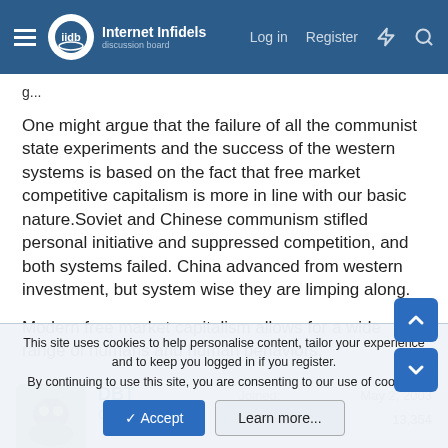Internet Infidels — Log in | Register
One might argue that the failure of all the communist state experiments and the success of the western systems is based on the fact that free market competitive capitalism is more in line with our basic nature.Soviet and Chinese communism stifled personal initiative and suppressed competition, and both systems failed. China advanced from western investment, but system wise they are limping along.
Modern free market capitalism allows for a wide range of humans and human behaviors.
DBT
Contributor
Joined: May 2, 2003
Messages: 13,354
This site uses cookies to help personalise content, tailor your experience and to keep you logged in if you register.
By continuing to use this site, you are consenting to our use of cookies.